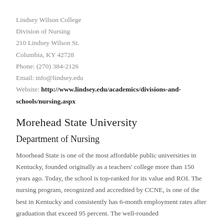Lindsey Wilson College
Division of Nursing
210 Lindsey Wilson St.
Columbia, KY 42728
Phone: (270) 384-2126
Email: info@lindsey.edu
Website: http://www.lindsey.edu/academics/divisions-and-schools/nursing.aspx
Morehead State University
Department of Nursing
Moorhead State is one of the most affordable public universities in Kentucky, founded originally as a teachers' college more than 150 years ago. Today, the school is top-ranked for its value and ROI. The nursing program, recognized and accredited by CCNE, is one of the best in Kentucky and consistently has 6-month employment rates after graduation that exceed 95 percent. The well-rounded